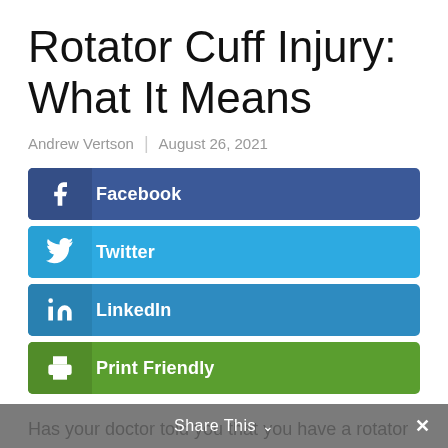Rotator Cuff Injury: What It Means
Andrew Vertson  |  August 26, 2021
[Figure (infographic): Four social sharing buttons: Facebook (blue), Twitter (light blue), LinkedIn (medium blue), Print Friendly (green)]
Has your doctor told you that you have a rotator cuff injury?
Share This  ∨  ×